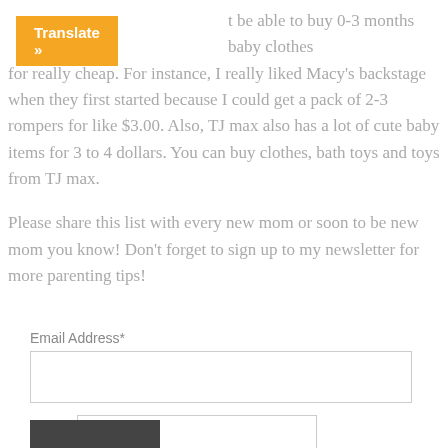[Figure (other): Orange 'Translate »' button overlay in top-left corner]
t be able to buy 0-3 months baby clothes for really cheap. For instance, I really liked Macy's backstage when they first started because I could get a pack of 2-3 rompers for like $3.00. Also, TJ max also has a lot of cute baby items for 3 to 4 dollars. You can buy clothes, bath toys and toys from TJ max.
Please share this list with every new mom or soon to be new mom you know! Don't forget to sign up to my newsletter for more parenting tips!
Email Address*
Name